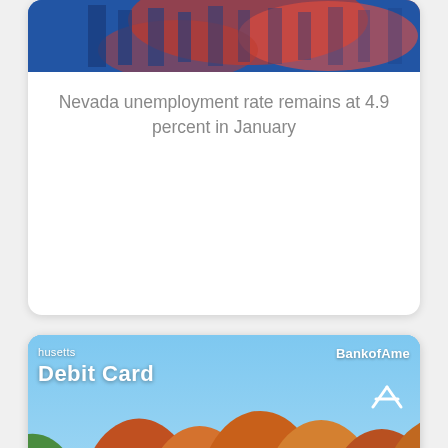[Figure (photo): Top card with decorative banner image and article headline about Nevada unemployment]
Nevada unemployment rate remains at 4.9 percent in January
[Figure (photo): Bank of America Massachusetts Debit Card with autumn foliage landscape. Card number: 412 7534 5678 9123. Cardholder: RIS L MARTIN. GOOD THRU 00/00. Mastercard logo.]